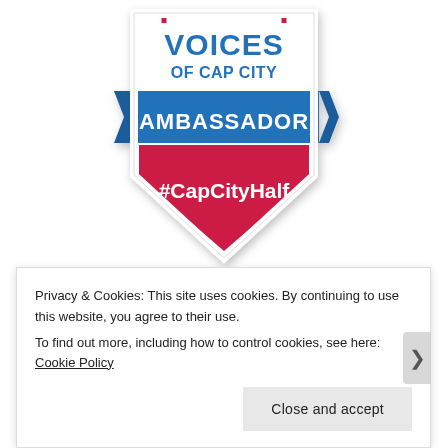[Figure (logo): Voices of Cap City Ambassador badge/shield logo with #CapCityHalf hashtag. Red, white, and blue shield shape with 'VOICES OF CAP CITY' at top in blue and 'AMBASSADOR' on blue banner, with '#CapCityHalf' on red lower section.]
10% DISCOUNT CODE FOR ALL M3S
Privacy & Cookies: This site uses cookies. By continuing to use this website, you agree to their use.
To find out more, including how to control cookies, see here: Cookie Policy
Close and accept